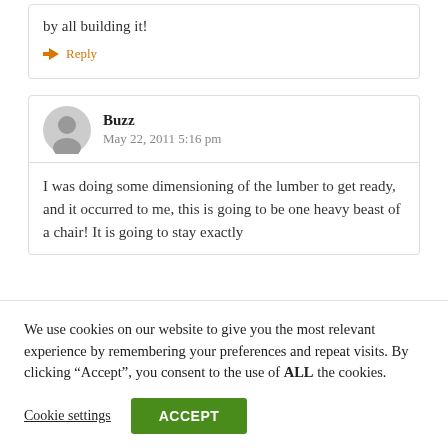by all building it!
➡ Reply
Buzz
May 22, 2011 5:16 pm
I was doing some dimensioning of the lumber to get ready, and it occurred to me, this is going to be one heavy beast of a chair! It is going to stay exactly
We use cookies on our website to give you the most relevant experience by remembering your preferences and repeat visits. By clicking "Accept", you consent to the use of ALL the cookies.
Cookie settings
ACCEPT